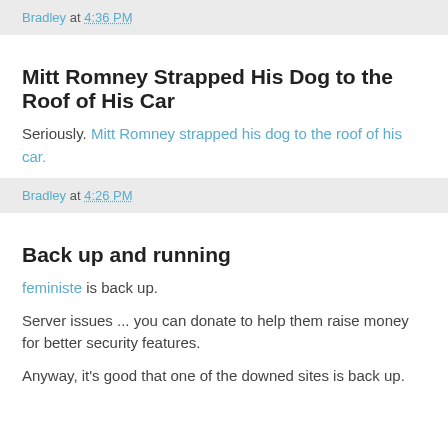Bradley at 4:36 PM
Mitt Romney Strapped His Dog to the Roof of His Car
Seriously. Mitt Romney strapped his dog to the roof of his car.
Bradley at 4:26 PM
Back up and running
feministe is back up.
Server issues ... you can donate to help them raise money for better security features.
Anyway, it's good that one of the downed sites is back up.